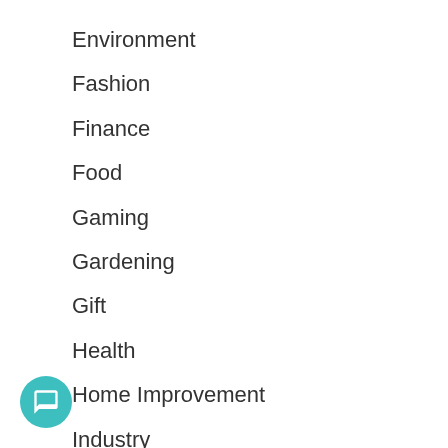Environment
Fashion
Finance
Food
Gaming
Gardening
Gift
Health
Home Improvement
Industry
Insurance
Interior Designer
Law